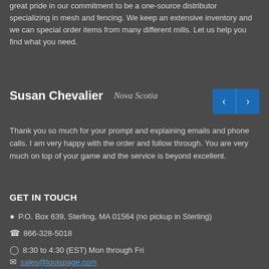great pride in our commitment to be a one-source distributor specializing in mesh and fencing. We keep an extensive inventory and we can special order items from many different mills. Let us help you find what you need.
Susan Chevalier  Nova Scotia
Thank you so much for your prompt and explaining emails and phone calls. I am very happy with the order and follow through. You are very much on top of your game and the service is beyond excellent.
GET IN TOUCH
P.O. Box 639, Sterling, MA 01564 (no pickup in Sterling)
866-328-5018
8:30 to 4:30 (EST) Mon through Fri
sales@louispage.com
Shipping Information